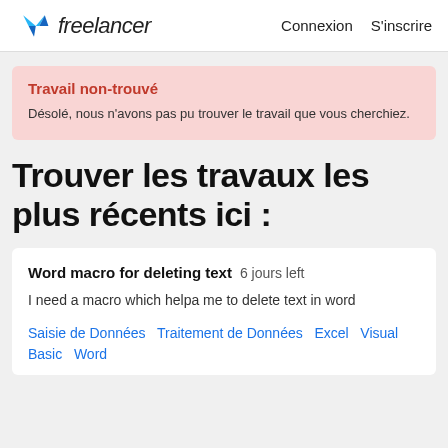freelancer   Connexion   S'inscrire
Travail non-trouvé
Désolé, nous n'avons pas pu trouver le travail que vous cherchiez.
Trouver les travaux les plus récents ici :
Word macro for deleting text   6 jours left
I need a macro which helpa me to delete text in word
Saisie de Données   Traitement de Données   Excel   Visual Basic   Word